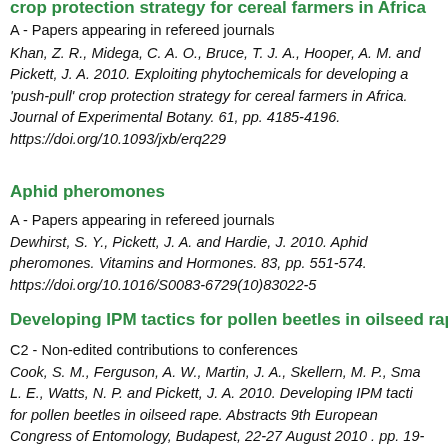crop protection strategy for cereal farmers in Africa
A - Papers appearing in refereed journals
Khan, Z. R., Midega, C. A. O., Bruce, T. J. A., Hooper, A. M. and Pickett, J. A. 2010. Exploiting phytochemicals for developing a 'push-pull' crop protection strategy for cereal farmers in Africa. Journal of Experimental Botany. 61, pp. 4185-4196. https://doi.org/10.1093/jxb/erq229
Aphid pheromones
A - Papers appearing in refereed journals
Dewhirst, S. Y., Pickett, J. A. and Hardie, J. 2010. Aphid pheromones. Vitamins and Hormones. 83, pp. 551-574. https://doi.org/10.1016/S0083-6729(10)83022-5
Developing IPM tactics for pollen beetles in oilseed rape
C2 - Non-edited contributions to conferences
Cook, S. M., Ferguson, A. W., Martin, J. A., Skellern, M. P., Sma... L. E., Watts, N. P. and Pickett, J. A. 2010. Developing IPM tactics for pollen beetles in oilseed rape. Abstracts 9th European Congress of Entomology, Budapest, 22-27 August 2010 . pp. 19-